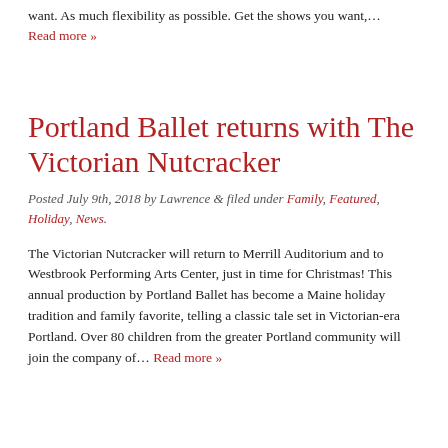want. As much flexibility as possible. Get the shows you want,… Read more »
Portland Ballet returns with The Victorian Nutcracker
Posted July 9th, 2018 by Lawrence & filed under Family, Featured, Holiday, News.
The Victorian Nutcracker will return to Merrill Auditorium and to Westbrook Performing Arts Center, just in time for Christmas! This annual production by Portland Ballet has become a Maine holiday tradition and family favorite, telling a classic tale set in Victorian-era Portland. Over 80 children from the greater Portland community will join the company of… Read more »